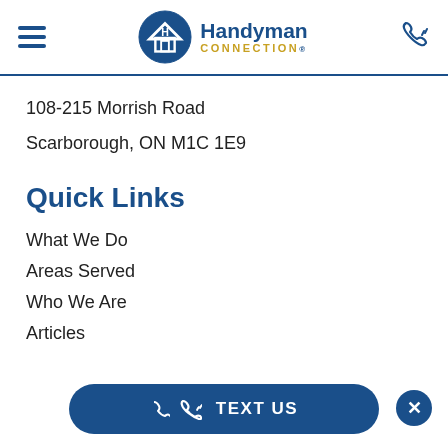Handyman Connection - navigation header
108-215 Morrish Road
Scarborough, ON M1C 1E9
Quick Links
What We Do
Areas Served
Who We Are
Articles
TEXT US